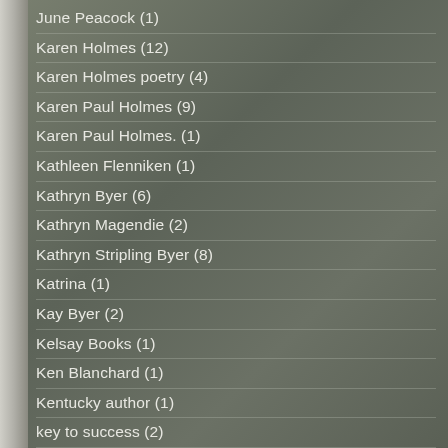June Peacock (1)
Karen Holmes (12)
Karen Holmes poetry (4)
Karen Paul Holmes (9)
Karen Paul Holmes. (1)
Kathleen Flenniken (1)
Kathryn Byer (6)
Kathryn Magendie (2)
Kathryn Stripling Byer (8)
Katrina (1)
Kay Byer (2)
Kelsay Books (1)
Ken Blanchard (1)
Kentucky author (1)
key to success (2)
kindle (3)
Korean Armistice Agreement (1)
Korean war (1)
Kristen Lamb (3)